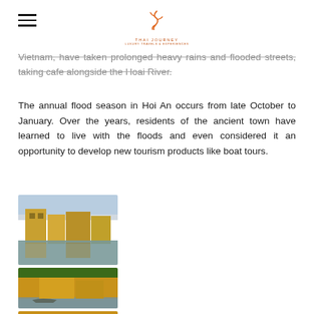THAI JOURNEY logo with hamburger menu
Vietnam, have taken prolonged heavy rains and flooded streets, taking cafe alongside the Hoai River.
The annual flood season in Hoi An occurs from late October to January. Over the years, residents of the ancient town have learned to live with the floods and even considered it an opportunity to develop new tourism products like boat tours.
[Figure (photo): Flooded street in Hoi An ancient town with yellow buildings reflected in floodwater]
[Figure (photo): Boat on flooded canal in Hoi An with yellow colonial buildings and green trees]
[Figure (photo): Close-up of yellow Hoi An building with blue door or shutters]